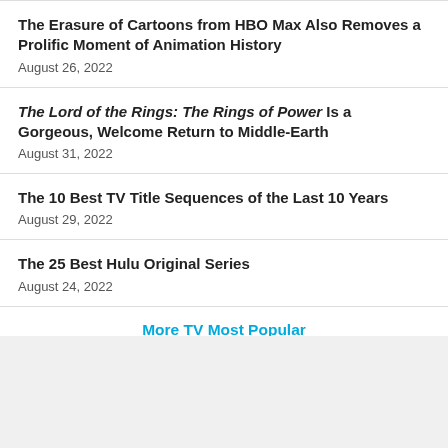The Erasure of Cartoons from HBO Max Also Removes a Prolific Moment of Animation History
August 26, 2022
The Lord of the Rings: The Rings of Power Is a Gorgeous, Welcome Return to Middle-Earth
August 31, 2022
The 10 Best TV Title Sequences of the Last 10 Years
August 29, 2022
The 25 Best Hulu Original Series
August 24, 2022
More TV Most Popular